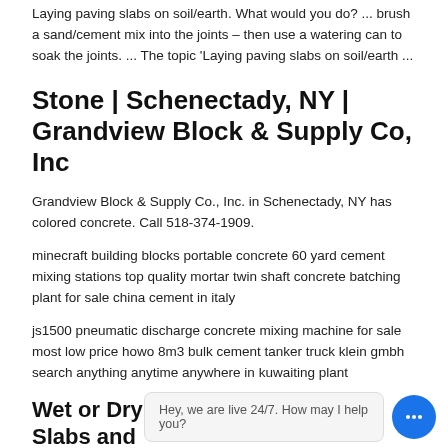Laying paving slabs on soil/earth. What would you do? ... brush a sand/cement mix into the joints – then use a watering can to soak the joints. ... The topic 'Laying paving slabs on soil/earth ...
Stone | Schenectady, NY | Grandview Block & Supply Co, Inc
Grandview Block & Supply Co., Inc. in Schenectady, NY has colored concrete. Call 518-374-1909.
minecraft building blocks portable concrete 60 yard cement mixing stations top quality mortar twin shaft concrete batching plant for sale china cement in italy
js1500 pneumatic discharge concrete mixing machine for sale most low price howo 8m3 bulk cement tanker truck klein gmbh search anything anytime anywhere in kuwaiting plant
Wet or Dry Mix for Laying Patio Slabs and